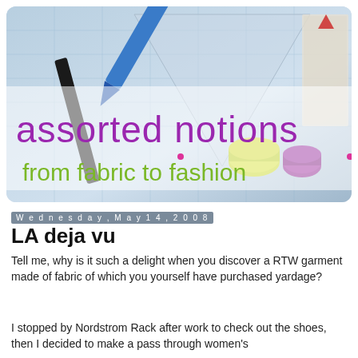[Figure (photo): Blog header banner image for 'assorted notions — from fabric to fashion'. Background shows sewing tools, thread spools (yellow-green, purple), fabric patterns and blue ruler on light blue background. Purple text reads 'assorted notions' and green handwritten-style text reads 'from fabric to fashion'.]
Wednesday, May 14, 2008
LA deja vu
Tell me, why is it such a delight when you discover a RTW garment made of fabric of which you yourself have purchased yardage?
I stopped by Nordstrom Rack after work to check out the shoes, then I decided to make a pass through women's